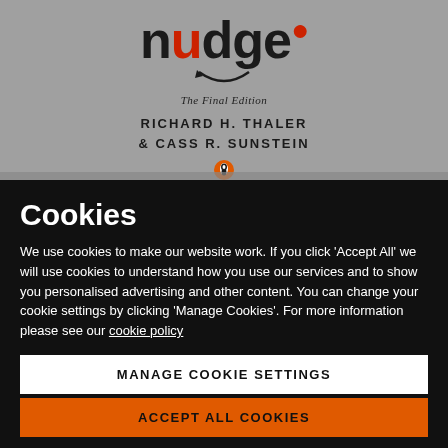[Figure (photo): Book cover of 'Nudge: The Final Edition' by Richard H. Thaler & Cass R. Sunstein, shown on a grey background with Penguin publisher logo]
Cookies
We use cookies to make our website work. If you click 'Accept All' we will use cookies to understand how you use our services and to show you personalised advertising and other content. You can change your cookie settings by clicking 'Manage Cookies'. For more information please see our cookie policy
MANAGE COOKIE SETTINGS
ACCEPT ALL COOKIES